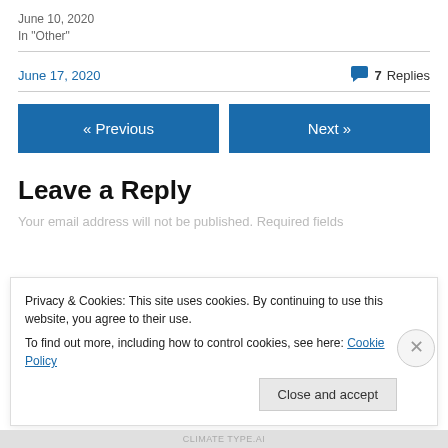June 10, 2020
In "Other"
June 17, 2020
7 Replies
« Previous
Next »
Leave a Reply
Your email address will not be published. Required fields
Privacy & Cookies: This site uses cookies. By continuing to use this website, you agree to their use.
To find out more, including how to control cookies, see here: Cookie Policy
Close and accept